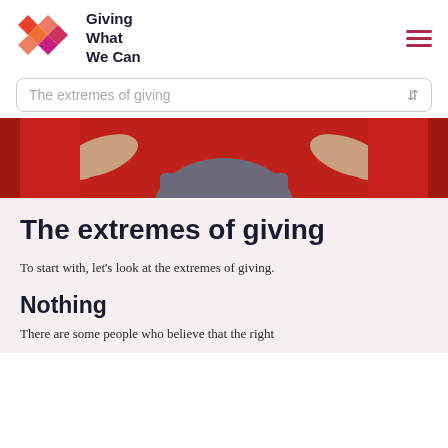Giving What We Can
The extremes of giving
[Figure (photo): A person in a grey sweater with arms outstretched in a shrugging gesture against a red background]
The extremes of giving
To start with, let’s look at the extremes of giving.
Nothing
There are some people who believe that the right